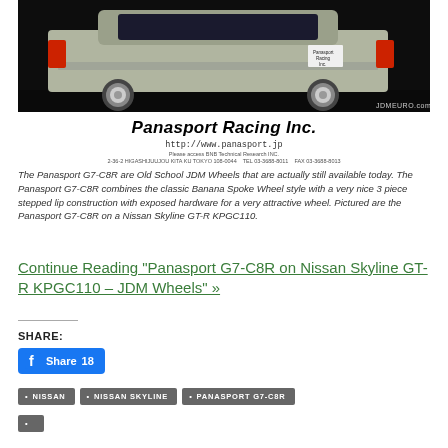[Figure (photo): Dark background photo of a silver/white classic Nissan Skyline GT-R KPGC110 car from the rear, showing chrome wheels. JDMEURO.com watermark in bottom right.]
[Figure (logo): Panasport Racing Inc. company logo with URL http://www.panasport.jp and address details]
The Panasport G7-C8R are Old School JDM Wheels that are actually still available today. The Panasport G7-C8R combines the classic Banana Spoke Wheel style with a very nice 3 piece stepped lip construction with exposed hardware for a very attractive wheel. Pictured are the Panasport G7-C8R on a Nissan Skyline GT-R KPGC110.
Continue Reading "Panasport G7-C8R on Nissan Skyline GT-R KPGC110 – JDM Wheels" »
SHARE:
[Figure (screenshot): Facebook Share button showing count of 18]
NISSAN
NISSAN SKYLINE
PANASPORT G7-C8R